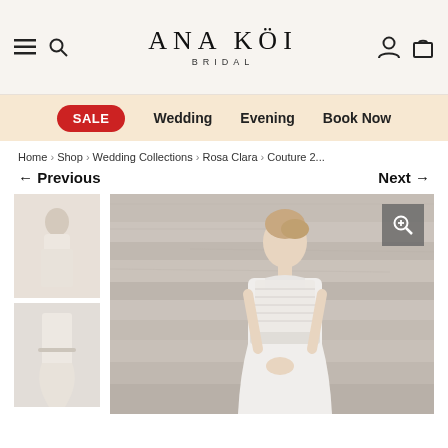ANA KOI BRIDAL — header with hamburger menu, search, user and cart icons
SALE  Wedding  Evening  Book Now
Home › Shop › Wedding Collections › Rosa Clara › Couture 2...
← Previous    Next →
[Figure (photo): Thumbnail of bride in white gown, front view]
[Figure (photo): Thumbnail of wedding dress back/train detail]
[Figure (photo): Main large photo of a bride wearing a sleeveless white halter wedding dress with beaded bodice, standing in front of a marble/stone wall]